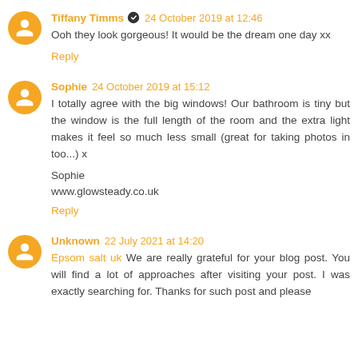Tiffany Timms ✔ 24 October 2019 at 12:46
Ooh they look gorgeous! It would be the dream one day xx
Reply
Sophie 24 October 2019 at 15:12
I totally agree with the big windows! Our bathroom is tiny but the window is the full length of the room and the extra light makes it feel so much less small (great for taking photos in too...) x
Sophie
www.glowsteady.co.uk
Reply
Unknown 22 July 2021 at 14:20
Epsom salt uk We are really grateful for your blog post. You will find a lot of approaches after visiting your post. I was exactly searching for. Thanks for such post and please...